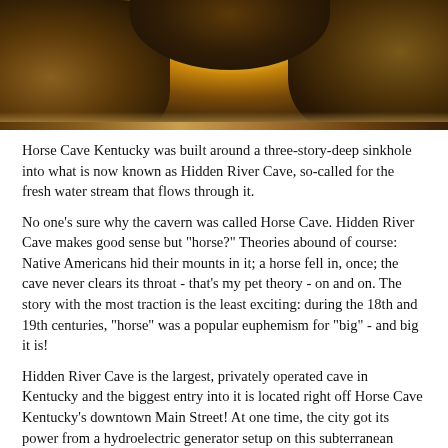[Figure (photo): Photograph of cave rocks with light filtering through an opening, showing dark brown and amber-colored rock formations around a cave entrance.]
Horse Cave Kentucky was built around a three-story-deep sinkhole into what is now known as Hidden River Cave, so-called for the fresh water stream that flows through it.
No one's sure why the cavern was called Horse Cave. Hidden River Cave makes good sense but "horse?" Theories abound of course: Native Americans hid their mounts in it; a horse fell in, once; the cave never clears its throat - that's my pet theory - on and on. The story with the most traction is the least exciting: during the 18th and 19th centuries, "horse" was a popular euphemism for "big" - and big it is!
Hidden River Cave is the largest, privately operated cave in Kentucky and the biggest entry into it is located right off Horse Cave Kentucky's downtown Main Street! At one time, the city got its power from a hydroelectric generator setup on this subterranean river's flow, and they used it as a water source, too - which makes their other, old habit of using the cave as a garbage disposal and sewer rather odd.
All that stopped in the late 8s/so when a new sewer...